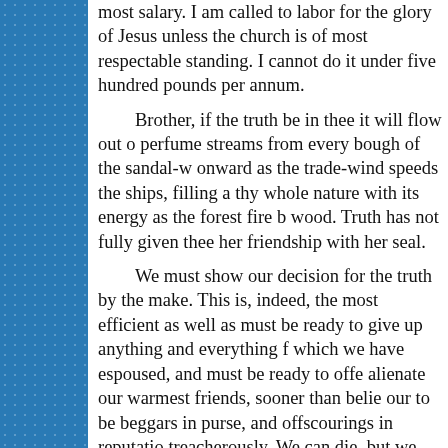most salary. I am called to labor for the glory of Jesus unless the church is of most respectable standing. I cannot do it under five hundred pounds per annum. Brother, if the truth be in thee it will flow out perfume streams from every bough of the sandal-wood, onward as the trade-wind speeds the ships, filling all thy whole nature with its energy as the forest fire burns wood. Truth has not fully given thee her friendship with her seal. We must show our decision for the truth by the make. This is, indeed, the most efficient as well as must be ready to give up anything and everything for which we have espoused, and must be ready to offer alienate our warmest friends, sooner than belie our to be beggars in purse, and offscourings in reputation treacherously. We can die, but we cannot deny the counted, and we are determined to buy the truth at price. Too little of this spirit is abroad now-a-days. save their own persons from trouble; they have great which side their bread is buttered; they are large-hearted men, if by any means they may save a sum. There a would follow at the heel of any man who would keep